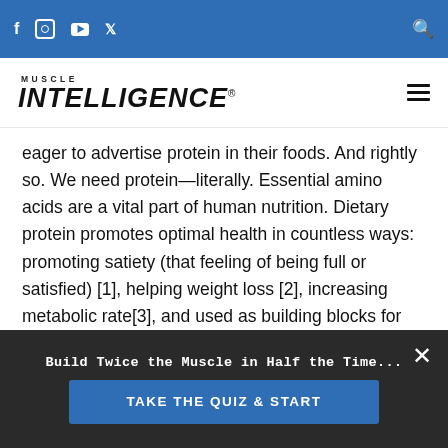Muscle Intelligence – navigation bar with social icons and search
[Figure (logo): Muscle Intelligence logo with MUSCLE above INTELLIGENCE in bold stylized font]
eager to advertise protein in their foods. And rightly so. We need protein—literally. Essential amino acids are a vital part of human nutrition. Dietary protein promotes optimal health in countless ways: promoting satiety (that feeling of being full or satisfied) [1], helping weight loss [2], increasing metabolic rate[3], and used as building blocks for dozens of hormones.
With all this focus on protein, it's little surprise that there are a lot of options on where we get our
Build Twice the Muscle in Half the Time…
TAKE THE QUIZ & START